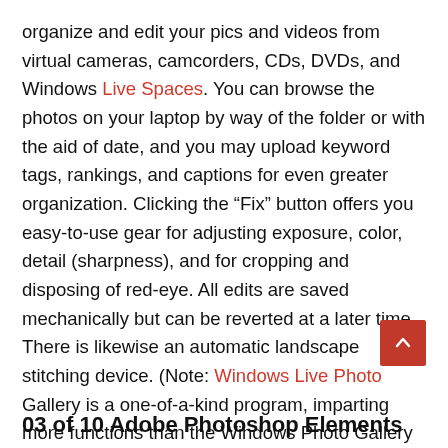organize and edit your pics and videos from virtual cameras, camcorders, CDs, DVDs, and Windows Live Spaces. You can browse the photos on your laptop by way of the folder or with the aid of date, and you may upload keyword tags, rankings, and captions for even greater organization. Clicking the “Fix” button offers you easy-to-use gear for adjusting exposure, color, detail (sharpness), and for cropping and disposing of red-eye. All edits are saved mechanically but can be reverted at a later time. There is likewise an automatic landscape stitching device. (Note: Windows Live Photo Gallery is a one-of-a-kind program, imparting more functions than the Windows Photo Gallery application that became covered with Windows Vista.) More »
03 of 10 Adobe Photoshop Elements